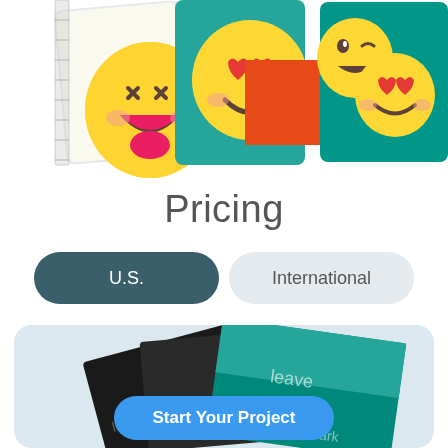[Figure (illustration): Colorful emoji stickers/cards scene at top: laughing emoji with tongue, heart-eyes emoji, winking face, and group of heart-eyes and winking emojis on teal and orange backgrounds]
Pricing
U.S.
International
[Figure (illustration): Stack of dark custom notebooks/journals with teal design saying 'leave your mark' overlapping, on a light blue rounded card background]
Start Your Project